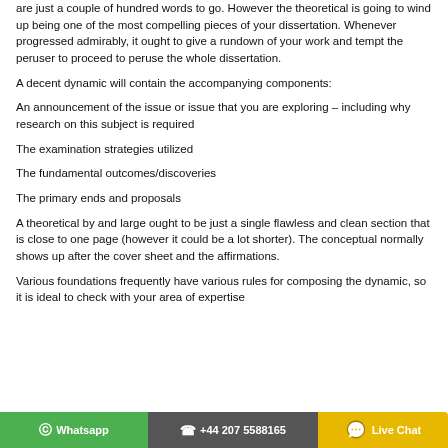are just a couple of hundred words to go. However the theoretical is going to wind up being one of the most compelling pieces of your dissertation. Whenever progressed admirably, it ought to give a rundown of your work and tempt the peruser to proceed to peruse the whole dissertation.
A decent dynamic will contain the accompanying components:
An announcement of the issue or issue that you are exploring – including why research on this subject is required
The examination strategies utilized
The fundamental outcomes/discoveries
The primary ends and proposals
A theoretical by and large ought to be just a single flawless and clean section that is close to one page (however it could be a lot shorter). The conceptual normally shows up after the cover sheet and the affirmations.
Various foundations frequently have various rules for composing the dynamic, so it is ideal to check with your area of expertise
© Whatsapp   +44 207 5588165   Live Chat